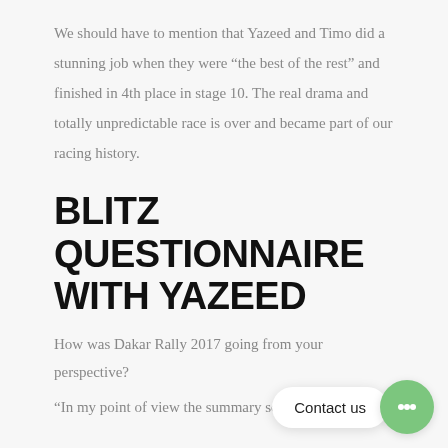We should have to mention that Yazeed and Timo did a stunning job when they were “the best of the rest” and finished in 4th place in stage 10. The real drama and totally unpredictable race is over and became part of our racing history.
BLITZ QUESTIONNAIRE WITH YAZEED
How was Dakar Rally 2017 going from your perspective?
“In my point of view the summary sounds it was OK.